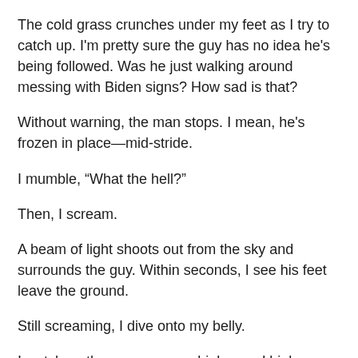The cold grass crunches under my feet as I try to catch up. I'm pretty sure the guy has no idea he's being followed. Was he just walking around messing with Biden signs? How sad is that?
Without warning, the man stops. I mean, he's frozen in place—mid-stride.
I mumble, “What the hell?”
Then, I scream.
A beam of light shoots out from the sky and surrounds the guy. Within seconds, I see his feet leave the ground.
Still screaming, I dive onto my belly.
I watch as the man goes up higher and higher towards the starting point of the light.